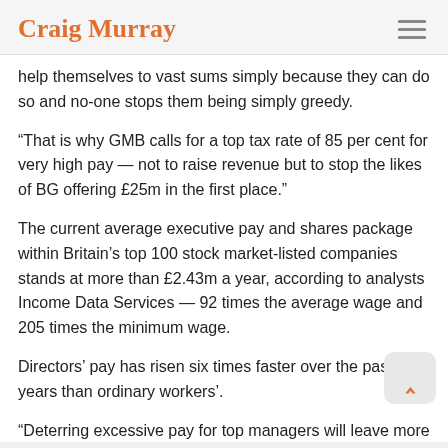Craig Murray
help themselves to vast sums simply because they can do so and no-one stops them being simply greedy.
“That is why GMB calls for a top tax rate of 85 per cent for very high pay — not to raise revenue but to stop the likes of BG offering £25m in the first place.”
The current average executive pay and shares package within Britain’s top 100 stock market-listed companies stands at more than £2.43m a year, according to analysts Income Data Services — 92 times the average wage and 205 times the minimum wage.
Directors’ pay has risen six times faster over the past 14 years than ordinary workers’.
“Deterring excessive pay for top managers will leave more to be shared with the all the team who create the wealth,” Mr Smith said.
http://www.morningstaronline.co.uk/a-1f06-Fat-cats-25m-is-